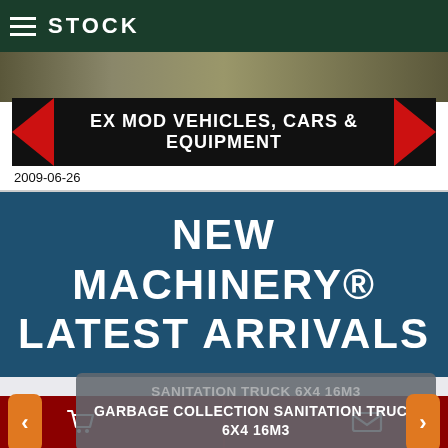STOCK
[Figure (photo): Ex MOD Vehicles banner with military equipment photo background, red arrow decorations, text: EX MOD VEHICLES, CARS & EQUIPMENT]
2009-06-26
NEW MACHINERY® LATEST ARRIVALS
GARBAGE COLLECTION SANITATION TRUCK 6X4 16M3
Shopping cart icon and envelope icon